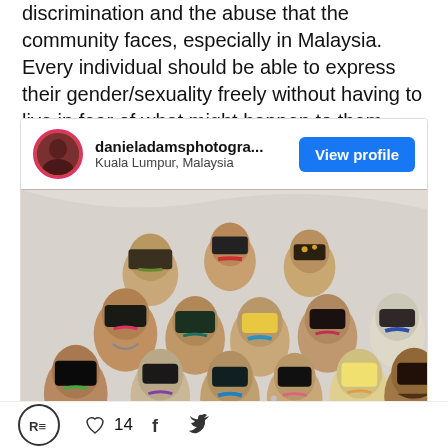discrimination and the abuse that the community faces, especially in Malaysia. Every individual should be able to express their gender/sexuality freely without having to live in fear of what might happen to them.
[Figure (screenshot): Instagram profile card for 'danieladamsphotogra...' located in Kuala Lumpur, Malaysia, with a 'View profile' button and a group photo of individuals wearing colorful artistic makeup.]
R= icon · heart 14 · f · twitter bird